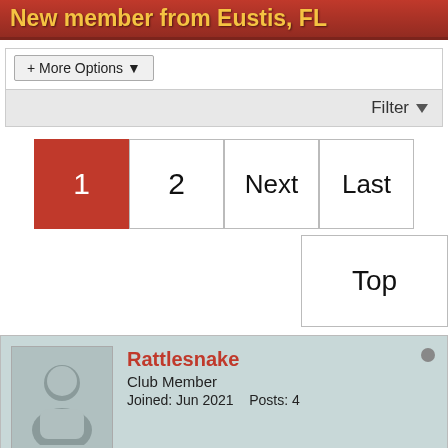New member from Eustis, FL
+ More Options
Filter
1  2  Next  Last
Top
Rattlesnake
Club Member
Joined: Jun 2021  Posts: 4
New member from Eustis, FL
Top | #1
June 24, 2021, 07:03 PM